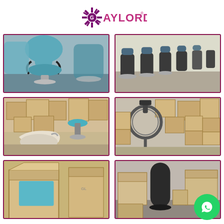[Figure (logo): Gaylord brand logo with sunburst/starburst graphic in dark pink/purple and the text GAYLORD with registered trademark symbol]
[Figure (photo): Blue/teal salon styling chairs displayed in a showroom]
[Figure (photo): Rows of salon/barber chairs in a warehouse showroom]
[Figure (photo): Warehouse with cardboard boxes and salon equipment including a blue stool and shampoo bowl]
[Figure (photo): Ring light and equipment standing among cardboard boxes in a warehouse]
[Figure (photo): Cardboard boxes partially visible at bottom of page]
[Figure (photo): Salon accessories/equipment in boxes at bottom of page]
[Figure (logo): WhatsApp icon button (green circle with phone handset)]